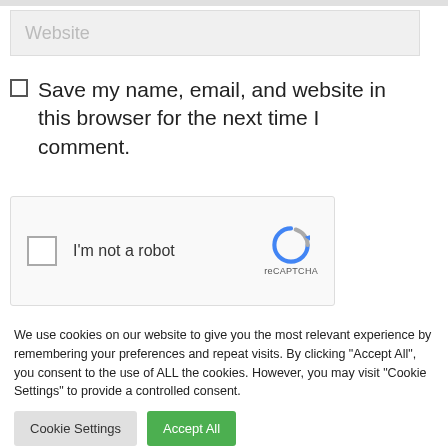Website
☐ Save my name, email, and website in this browser for the next time I comment.
[Figure (other): reCAPTCHA widget with checkbox and 'I'm not a robot' label, showing reCAPTCHA logo with blue and grey arrow icon]
We use cookies on our website to give you the most relevant experience by remembering your preferences and repeat visits. By clicking "Accept All", you consent to the use of ALL the cookies. However, you may visit "Cookie Settings" to provide a controlled consent.
Cookie Settings
Accept All